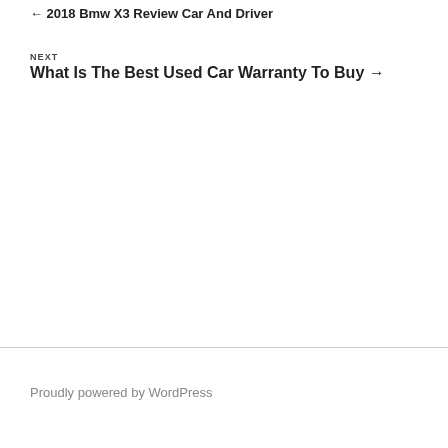← 2018 Bmw X3 Review Car And Driver
NEXT
What Is The Best Used Car Warranty To Buy →
Proudly powered by WordPress